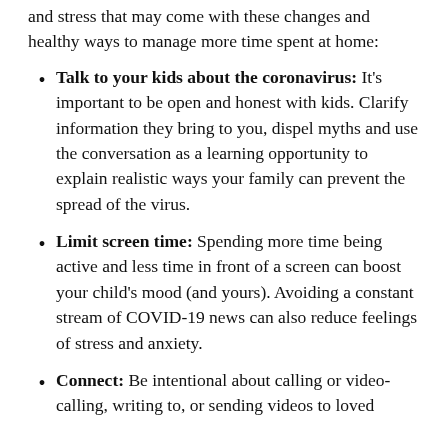and stress that may come with these changes and healthy ways to manage more time spent at home:
Talk to your kids about the coronavirus: It's important to be open and honest with kids. Clarify information they bring to you, dispel myths and use the conversation as a learning opportunity to explain realistic ways your family can prevent the spread of the virus.
Limit screen time: Spending more time being active and less time in front of a screen can boost your child's mood (and yours). Avoiding a constant stream of COVID-19 news can also reduce feelings of stress and anxiety.
Connect: Be intentional about calling or video-calling, writing to, or sending videos to loved